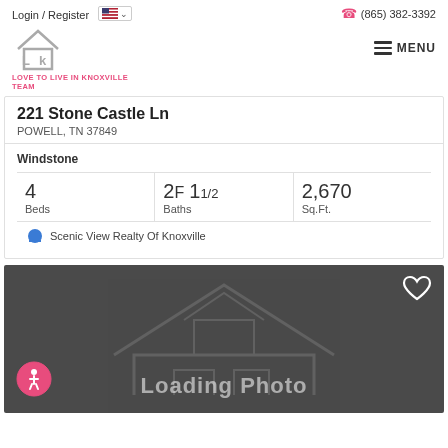Login / Register  (865) 382-3392
[Figure (logo): LK house logo with text LOVE TO LIVE IN KNOXVILLE TEAM]
221 Stone Castle Ln
POWELL, TN 37849
Windstone
4 Beds  2F 1 1/2 Baths  2,670 Sq.Ft.
Scenic View Realty Of Knoxville
[Figure (photo): Loading photo placeholder with dark gray background, house outline, Loading Photo text, heart icon, and accessibility icon]